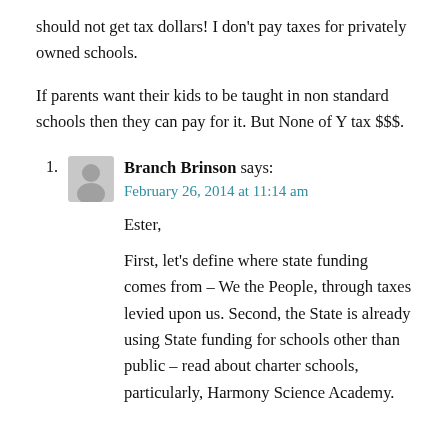should not get tax dollars! I don't pay taxes for privately owned schools.
If parents want their kids to be taught in non standard schools then they can pay for it. But None of Y tax $$$.
Branch Brinson says:
February 26, 2014 at 11:14 am
Ester,
First, let's define where state funding comes from – We the People, through taxes levied upon us. Second, the State is already using State funding for schools other than public – read about charter schools, particularly, Harmony Science Academy.